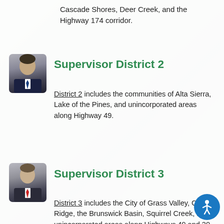Cascade Shores, Deer Creek, and the Highway 174 corridor.
[Figure (photo): Portrait photo of Supervisor District 2 official in dark suit]
Supervisor District 2
District 2 includes the communities of Alta Sierra, Lake of the Pines, and unincorporated areas along Highway 49.
[Figure (photo): Portrait photo of Supervisor District 3 official in suit with red tie]
Supervisor District 3
District 3 includes the City of Grass Valley, Cedar Ridge, the Brunswick Basin, Squirrel Creek, and unincorporated areas along Highways 49 and 20.
[Figure (photo): Portrait photo of Supervisor District 4 official, woman with light hair]
Supervisor District 4
District 4 includes the communities of Lake Wildwood, North San Juan, Penn Valley